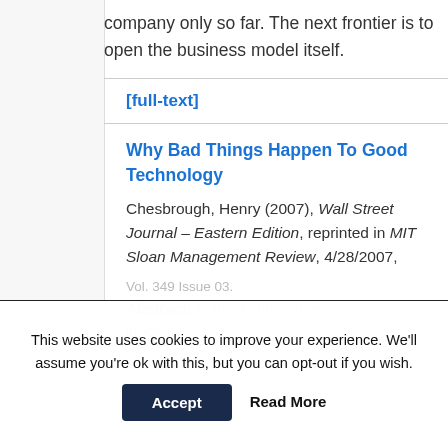to external parties will carry a company only so far. The next frontier is to open the business model itself.
[full-text]
Why Bad Things Happen To Good Technology
Chesbrough, Henry (2007), Wall Street Journal – Eastern Edition, reprinted in MIT Sloan Management Review, 4/28/2007,
This website uses cookies to improve your experience. We'll assume you're ok with this, but you can opt-out if you wish.
Accept
Read More